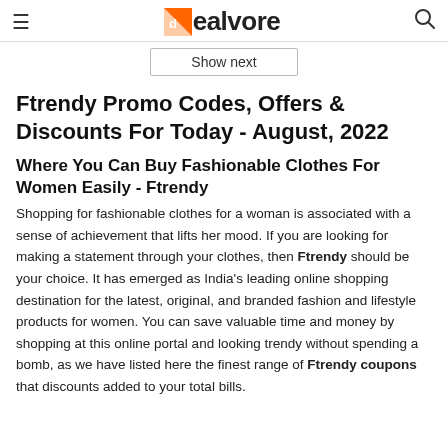dealvore
Show next
Ftrendy Promo Codes, Offers & Discounts For Today - August, 2022
Where You Can Buy Fashionable Clothes For Women Easily - Ftrendy
Shopping for fashionable clothes for a woman is associated with a sense of achievement that lifts her mood. If you are looking for making a statement through your clothes, then Ftrendy should be your choice. It has emerged as India's leading online shopping destination for the latest, original, and branded fashion and lifestyle products for women. You can save valuable time and money by shopping at this online portal and looking trendy without spending a bomb, as we have listed here the finest range of Ftrendy coupons that discounts added to your total bills.